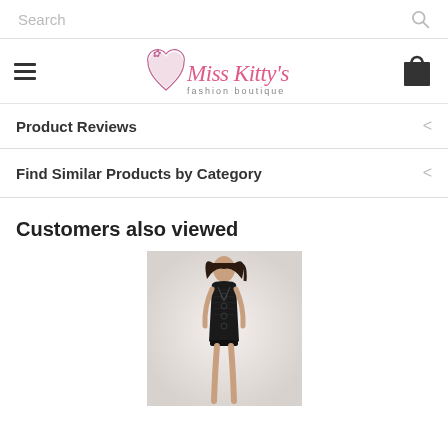Search
[Figure (logo): Miss Kitty's fashion boutique logo with decorative script font in pink]
Product Reviews
Find Similar Products by Category
Customers also viewed
[Figure (photo): Woman wearing black lace lingerie chemise dress with matching underwear, standing against a light background]